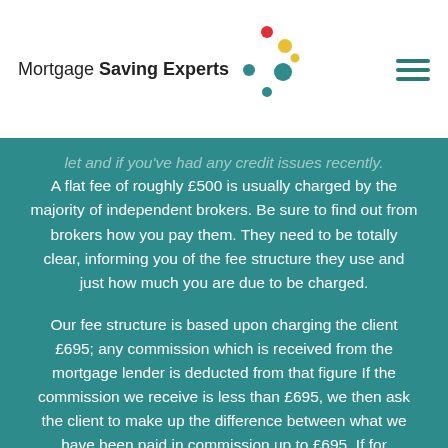Mortgage Saving Experts
let and if you've had any credit issues recently. A flat fee of roughly £500 is usually charged by the majority of independent brokers. Be sure to find out from brokers how you pay them. They need to be totally clear, informing you of the fee structure they use and just how much you are due to be charged.
Our fee structure is based upon charging the client £695; any commission which is received from the mortgage lender is deducted from that figure If the commission we receive is less than £695, we then ask the client to make up the difference between what we have been paid in commission up to £695. If for example, we are paid a commission of £495, we would ask you to pay a fee of £200, payable on production of your mortgage offer. Please note, we only take payments on a results-based arrangement